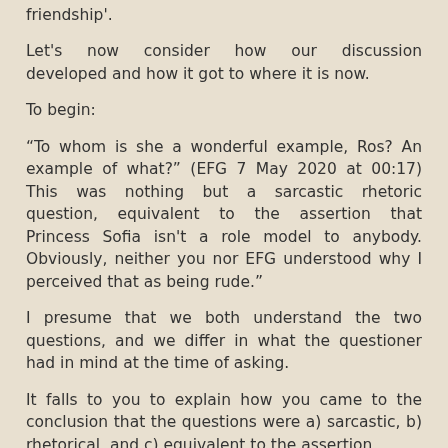friendship'.
Let's now consider how our discussion developed and how it got to where it is now.
To begin:
“To whom is she a wonderful example, Ros? An example of what?” (EFG 7 May 2020 at 00:17) This was nothing but a sarcastic rhetoric question, equivalent to the assertion that Princess Sofia isn't a role model to anybody. Obviously, neither you nor EFG understood why I perceived that as being rude.”
I presume that we both understand the two questions, and we differ in what the questioner had in mind at the time of asking.
It falls to you to explain how you came to the conclusion that the questions were a) sarcastic, b) rhetorical, and c) equivalent to the assertion